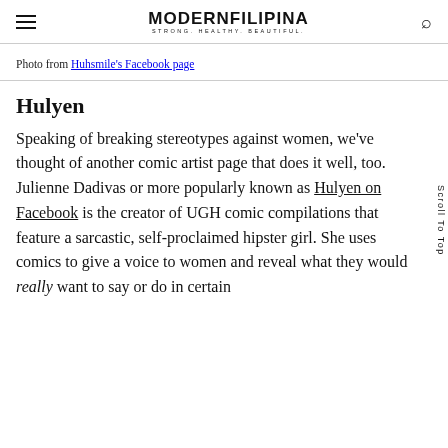MODERNFILIPINA
STRONG, HEALTHY, BEAUTIFUL
Photo from Huhsmile's Facebook page
Hulyen
Speaking of breaking stereotypes against women, we've thought of another comic artist page that does it well, too. Julienne Dadivas or more popularly known as Hulyen on Facebook is the creator of UGH comic compilations that feature a sarcastic, self-proclaimed hipster girl. She uses comics to give a voice to women and reveal what they would really want to say or do in certain